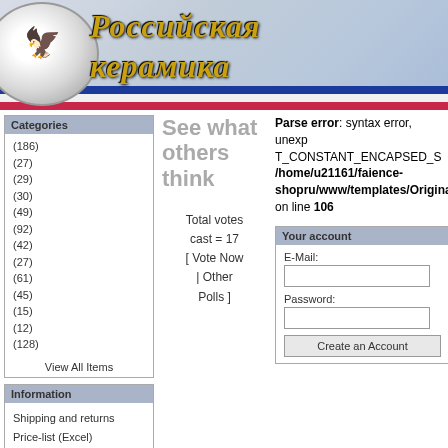[Figure (illustration): Website header banner for Russian ceramics shop 'Российская керамика' with Russian flag colors, decorative eagle logo, and gold italic Cyrillic text]
Categories
(186)
(27)
(29)
(30)
(49)
(92)
(42)
(27)
(61)
(45)
(15)
(12)
(128)
View All Items
Information
Shipping and returns
Price-list (Excel)
Price-list (HTML)
Contact Us
Quick find
See what others think
Total votes cast = 17
[ Vote Now | Other Polls ]
Parse error: syntax error, unexpected T_CONSTANT_ENCAPSED_S /home/u21161/faience-shopru/www/templates/Origina on line 106
Your account
E-Mail:
Password:
Create an Account